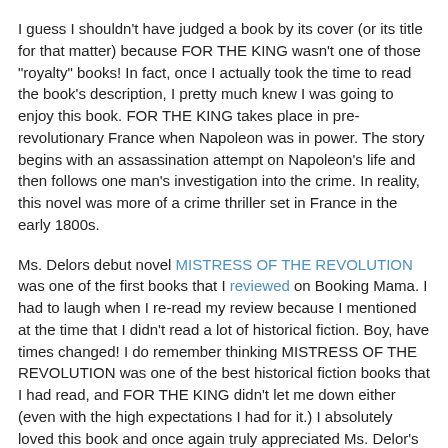I guess I shouldn't have judged a book by its cover (or its title for that matter) because FOR THE KING wasn't one of those "royalty" books! In fact, once I actually took the time to read the book's description, I pretty much knew I was going to enjoy this book. FOR THE KING takes place in pre-revolutionary France when Napoleon was in power. The story begins with an assassination attempt on Napoleon's life and then follows one man's investigation into the crime. In reality, this novel was more of a crime thriller set in France in the early 1800s.
Ms. Delors debut novel MISTRESS OF THE REVOLUTION was one of the first books that I reviewed on Booking Mama. I had to laugh when I re-read my review because I mentioned at the time that I didn't read a lot of historical fiction. Boy, have times changed! I do remember thinking MISTRESS OF THE REVOLUTION was one of the best historical fiction books that I had read, and FOR THE KING didn't let me down either (even with the high expectations I had for it.) I absolutely loved this book and once again truly appreciated Ms. Delor's storytelling abilities.